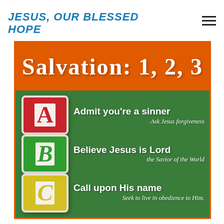JESUS, OUR BLESSED HOPE
[Figure (infographic): Salvation 1, 2, 3 infographic with ABC alphabet blocks on a green chalkboard background. A block: Admit you're a sinner / Ask Jesus forgiveness. B block: Believe Jesus is Lord / the Savior of the World. C block: Call upon His name / Seek to live in obedience to Him.]